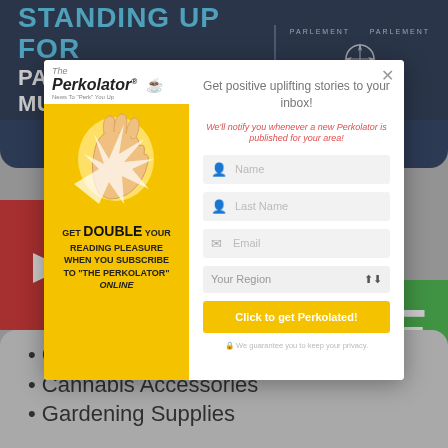STANDING UP FOR PARRY SOUND-MUSKOKA
scott.aitchison@parl.gc.ca  1-800-265-9565
[Figure (screenshot): The Perkolator popup modal with subscription form. Left yellow panel shows Perkolator logo and text: GET DOUBLE YOUR READING PLEASURE WHEN YOU SUBSCRIBE TO THE PERKOLATOR ONLINE. Right panel shows form fields: Name, Last Name, Email, Your Region, and a button 'Click to get Perkolated'. Text: Get positive uplifting stories to your inbox! We'll notify you whenever a new Perkolator is published for your area!]
Cannabis
Cannabis Accessories
Gardening Supplies